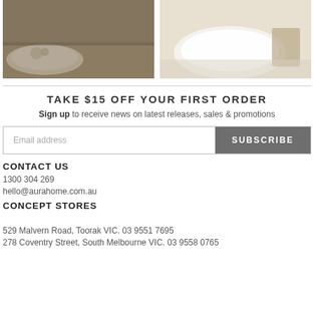[Figure (photo): Photo of a living room scene with a white marble coffee table, decorative objects, and a blue sofa on a woven rug.]
[Figure (photo): Photo of a white freestanding bathtub with a wicker basket beside it on a light rug.]
TAKE $15 OFF YOUR FIRST ORDER
Sign up to receive news on latest releases, sales & promotions
Email address
SUBSCRIBE
CONTACT US
1300 304 269
hello@aurahome.com.au
CONCEPT STORES
529 Malvern Road, Toorak VIC. 03 9551 7695
278 Coventry Street, South Melbourne VIC. 03 9558 0765